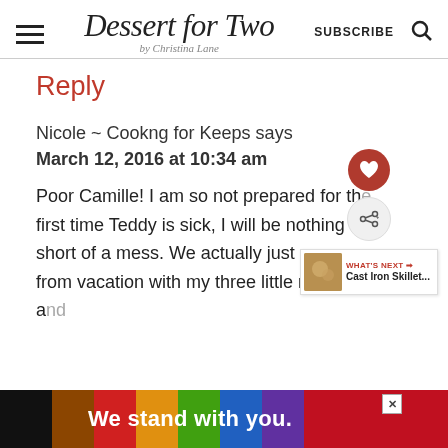Dessert for Two by Christina Lane | SUBSCRIBE
Reply
Nicole ~ Cookng for Keeps says
March 12, 2016 at 10:34 am
Poor Camille! I am so not prepared for the first time Teddy is sick, I will be nothing short of a mess. We actually just from vacation with my three little nieces a ome b
[Figure (infographic): Colorful pride flag advertisement banner reading 'We stand with you.' with a close button]
[Figure (infographic): WHAT'S NEXT arrow with Cast Iron Skillet... thumbnail image floating overlay]